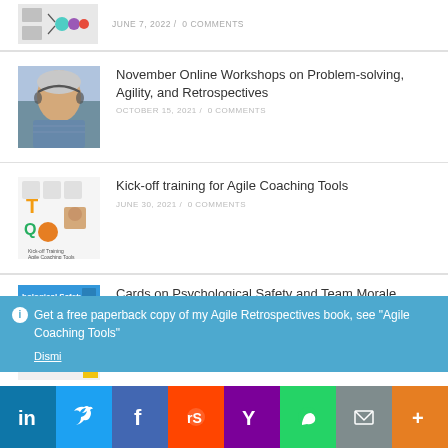JUNE 7, 2022 / 0 COMMENTS
November Online Workshops on Problem-solving, Agility, and Retrospectives
OCTOBER 15, 2021 / 0 COMMENTS
Kick-off training for Agile Coaching Tools
JUNE 30, 2021 / 0 COMMENTS
Cards on Psychological Safety and Team Morale released
MAY 13, 2021 / 0 COMMENTS
Get a free paperback copy of my Agile Retrospectives book, see "Agile Coaching Tools"
Dismiss